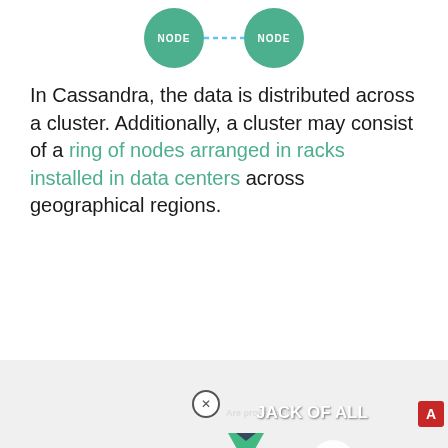[Figure (illustration): Two circular nodes labeled NODE connected by a dashed line, on green circles]
In Cassandra, the data is distributed across a cluster. Additionally, a cluster may consist of a ring of nodes arranged in racks installed in data centers across geographical regions.
[Figure (screenshot): Video thumbnail showing a person with arms spread, text JACK OF ALL TRADES, JS, php, Vue, Angular logos, Are programme... text overlay, play button in center]